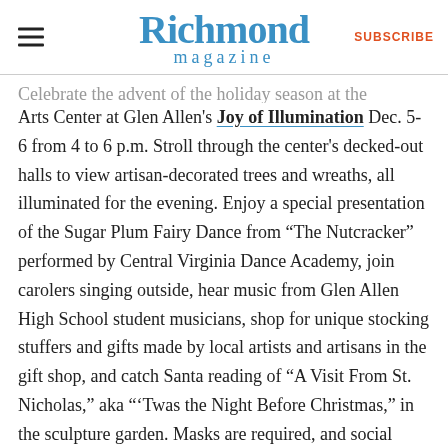Richmond magazine — SUBSCRIBE
Celebrate the advent of the holiday season at the Cultural Arts Center at Glen Allen's Joy of Illumination Dec. 5-6 from 4 to 6 p.m. Stroll through the center's decked-out halls to view artisan-decorated trees and wreaths, all illuminated for the evening. Enjoy a special presentation of the Sugar Plum Fairy Dance from “The Nutcracker” performed by Central Virginia Dance Academy, join carolers singing outside, hear music from Glen Allen High School student musicians, shop for unique stocking stuffers and gifts made by local artists and artisans in the gift shop, and catch Santa reading of “A Visit From St. Nicholas,” aka “’Twas the Night Before Christmas,” in the sculpture garden. Masks are required, and social distancing protocols will be followed. Admission is free.